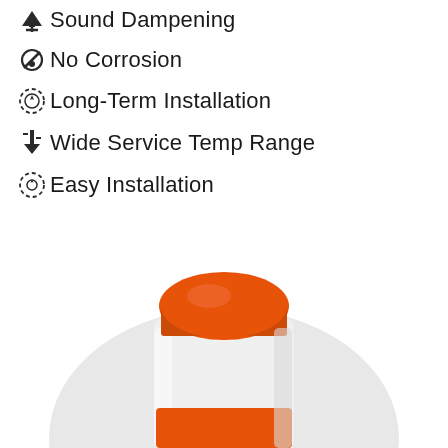Sound Dampening
No Corrosion
Long-Term Installation
Wide Service Temp Range
Easy Installation
[Figure (photo): White plastic container with orange ribbed screw-top cap, partially visible, shown from above at an angle against a light gray circular background]